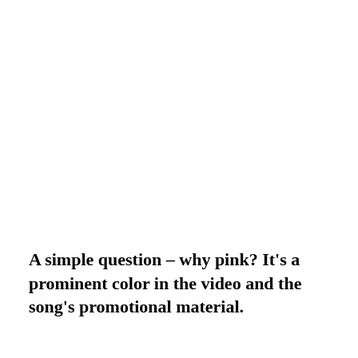A simple question – why pink? It's a prominent color in the video and the song's promotional material.